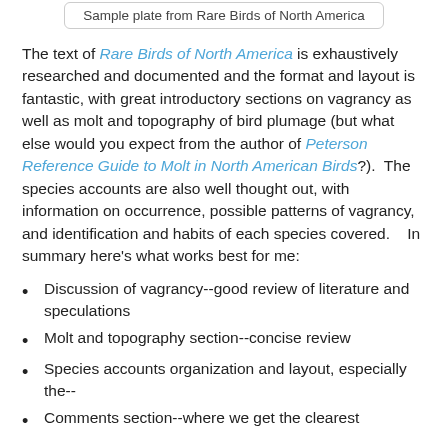Sample plate from Rare Birds of North America
The text of Rare Birds of North America is exhaustively researched and documented and the format and layout is fantastic, with great introductory sections on vagrancy as well as molt and topography of bird plumage (but what else would you expect from the author of Peterson Reference Guide to Molt in North American Birds?).  The species accounts are also well thought out, with information on occurrence, possible patterns of vagrancy, and identification and habits of each species covered.    In summary here's what works best for me:
Discussion of vagrancy--good review of literature and speculations
Molt and topography section--concise review
Species accounts organization and layout, especially the--
Comments section--where we get the clearest